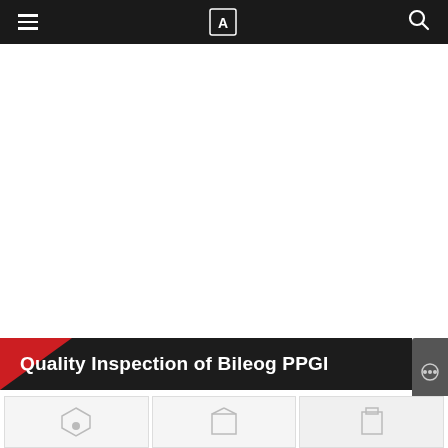Quality Inspection of Bileog PPGI
Quality Inspection of Bileog PPGI
[Figure (photo): Three metallic sheet/plate samples shown for quality inspection of PPGI (Pre-Painted Galvanized Iron) sheet products, partially visible at the bottom of the page]